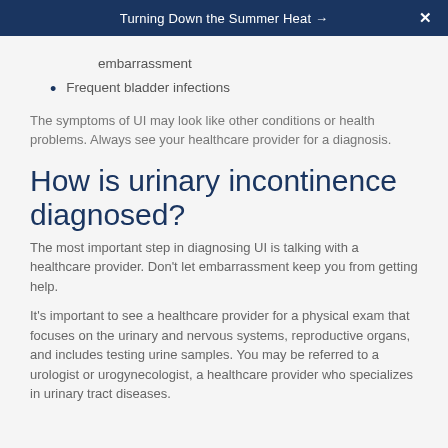Turning Down the Summer Heat →  ✕
embarrassment
Frequent bladder infections
The symptoms of UI may look like other conditions or health problems. Always see your healthcare provider for a diagnosis.
How is urinary incontinence diagnosed?
The most important step in diagnosing UI is talking with a healthcare provider. Don't let embarrassment keep you from getting help.
It's important to see a healthcare provider for a physical exam that focuses on the urinary and nervous systems, reproductive organs, and includes testing urine samples. You may be referred to a urologist or urogynecologist, a healthcare provider who specializes in urinary tract diseases.